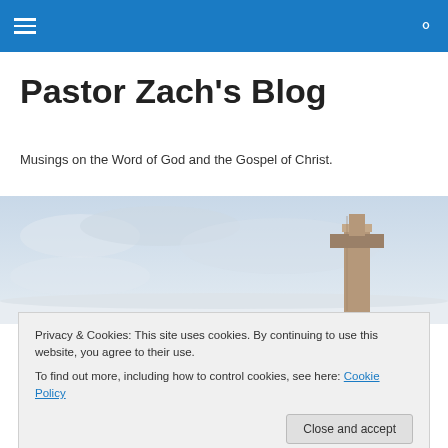Pastor Zach's Blog — navigation bar with hamburger menu and search icon
Pastor Zach's Blog
Musings on the Word of God and the Gospel of Christ.
[Figure (photo): Outdoor cross monument against a cloudy sky]
The Coronavirus Continues to
Privacy & Cookies: This site uses cookies. By continuing to use this website, you agree to their use.
To find out more, including how to control cookies, see here: Cookie Policy
Close and accept
[Figure (photo): Partial bottom strip of a photo showing a person]